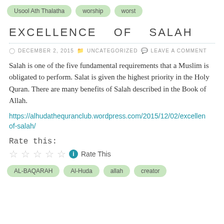Usool Ath Thalatha
worship
worst
EXCELLENCE OF SALAH
DECEMBER 2, 2015   UNCATEGORIZED   LEAVE A COMMENT
Salah is one of the five fundamental requirements that a Muslim is obligated to perform. Salat is given the highest priority in the Holy Quran. There are many benefits of Salah described in the Book of Allah.
https://alhudathequranclub.wordpress.com/2015/12/02/excellence-of-salah/
Rate this:
Rate This
AL-BAQARAH
Al-Huda
allah
creator